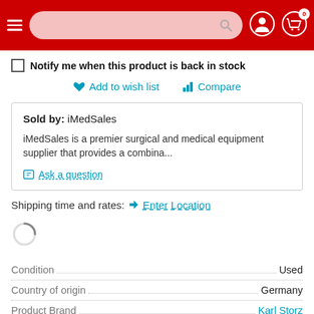Header navigation bar with hamburger menu, search box, user icon, and cart (0)
Notify me when this product is back in stock
Add to wish list  Compare
Sold by:  iMedSales
iMedSales is a premier surgical and medical equipment supplier that provides a combina...
Ask a question
Shipping time and rates:  Enter Location
Condition......Used
Country of origin......Germany
Product Brand......Karl Storz